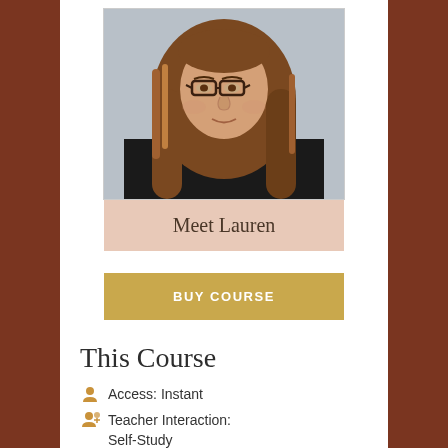[Figure (photo): Portrait photo of a woman named Lauren with long brown hair and glasses, wearing dark clothing with a white collar detail]
Meet Lauren
BUY COURSE
This Course
Access: Instant
Teacher Interaction: Self-Study